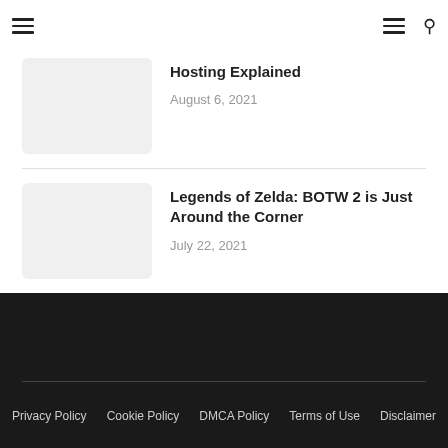Navigation header with hamburger menu and search icon
Hosting Explained
August 6, 2021
Legends of Zelda: BOTW 2 is Just Around the Corner
July 22, 2021
Privacy Policy  Cookie Policy  DMCA Policy  Terms of Use  Disclaimer